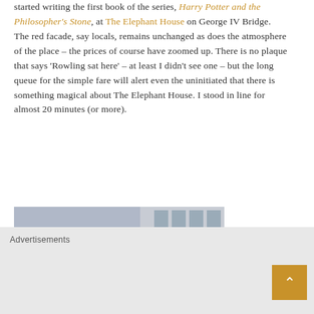started writing the first book of the series, Harry Potter and the Philosopher's Stone, at The Elephant House on George IV Bridge. The red facade, say locals, remains unchanged as does the atmosphere of the place – the prices of course have zoomed up. There is no plaque that says 'Rowling sat here' – at least I didn't see one – but the long queue for the simple fare will alert even the uninitiated that there is something magical about The Elephant House. I stood in line for almost 20 minutes (or more).
[Figure (photo): Photo of The Elephant House cafe sign — a red/orange facade with gold serif text reading 'the elephant house']
Advertisements